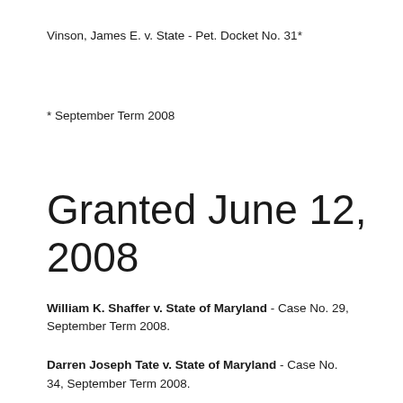Vinson, James E. v. State - Pet. Docket No. 31*
* September Term 2008
Granted June 12, 2008
William K. Shaffer v. State of Maryland - Case No. 29, September Term 2008.
Darren Joseph Tate v. State of Maryland - Case No. 34, September Term 2008.